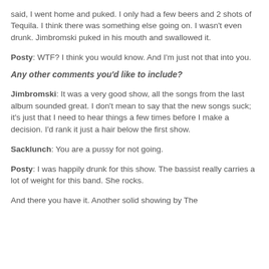said, I went home and puked. I only had a few beers and 2 shots of Tequila. I think there was something else going on. I wasn't even drunk. Jimbromski puked in his mouth and swallowed it.
Posty: WTF? I think you would know. And I'm just not that into you.
Any other comments you'd like to include?
Jimbromski: It was a very good show, all the songs from the last album sounded great. I don't mean to say that the new songs suck; it's just that I need to hear things a few times before I make a decision. I'd rank it just a hair below the first show.
Sacklunch: You are a pussy for not going.
Posty: I was happily drunk for this show. The bassist really carries a lot of weight for this band. She rocks.
And there you have it. Another solid showing by The